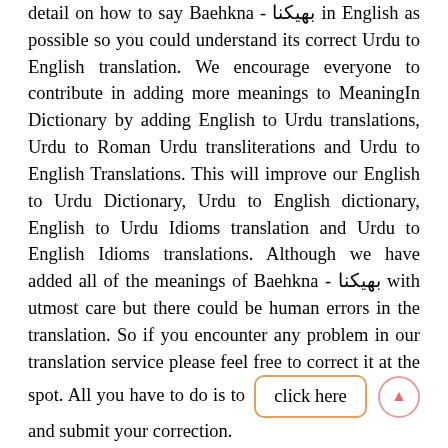detail on how to say Baehkna - بھیکنا in English as possible so you could understand its correct Urdu to English translation. We encourage everyone to contribute in adding more meanings to MeaningIn Dictionary by adding English to Urdu translations, Urdu to Roman Urdu transliterations and Urdu to English Translations. This will improve our English to Urdu Dictionary, Urdu to English dictionary, English to Urdu Idioms translation and Urdu to English Idioms translations. Although we have added all of the meanings of Baehkna - بھیکنا with utmost care but there could be human errors in the translation. So if you encounter any problem in our translation service please feel free to correct it at the spot. All you have to do is to click here and submit your correction.